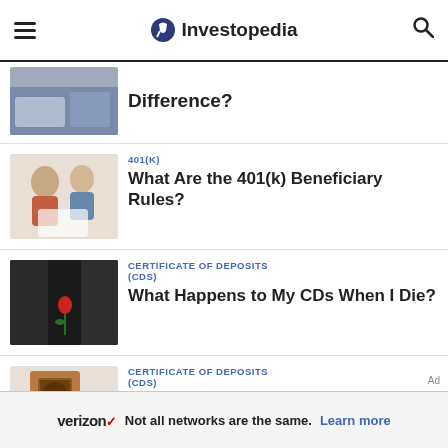Investopedia
Difference?
401(K)
What Are the 401(k) Beneficiary Rules?
CERTIFICATE OF DEPOSITS (CDS)
What Happens to My CDs When I Die?
CERTIFICATE OF DEPOSITS (CDS)
Can Your Bypass Probate...
verizon Not all networks are the same. Learn more